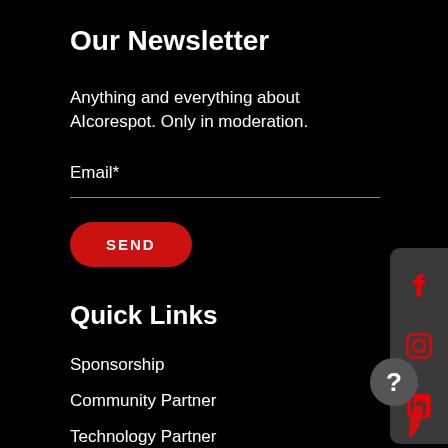Our Newsletter
Anything and everything about AIcorespot. Only in moderation.
Email*
[Figure (other): Red rounded SEND button]
Quick Links
Sponsorship
Community Partner
Technology Partner
[Figure (other): Social media sidebar with Facebook, Instagram, and LinkedIn icons on dark rounded rectangle, plus help bubble and chili icon]